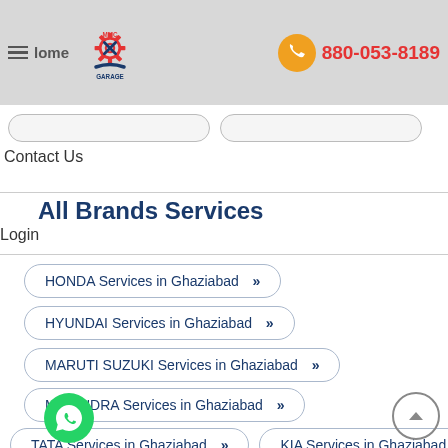MMC GARAGE | 880-053-8189
Contact Us
All Brands Services
Login
HONDA Services in Ghaziabad »
HYUNDAI Services in Ghaziabad »
MARUTI SUZUKI Services in Ghaziabad »
MAHINDRA Services in Ghaziabad »
TATA Services in Ghaziabad »
KIA Services in Ghaziabad »
SKODA Services in Ghaziabad »
BOLT Services in Ghaziabad »